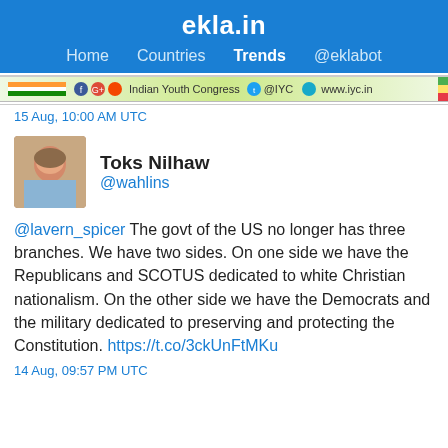ekla.in
Home  Countries  Trends  @eklabot
[Figure (screenshot): Indian Youth Congress banner with flag, social media icons, @IYC handle, and www.iyc.in website link]
15 Aug, 10:00 AM UTC
Toks Nilhaw
@wahlins
@lavern_spicer The govt of the US no longer has three branches. We have two sides. On one side we have the Republicans and SCOTUS dedicated to white Christian nationalism. On the other side we have the Democrats and the military dedicated to preserving and protecting the Constitution. https://t.co/3ckUnFtMKu
14 Aug, 09:57 PM UTC